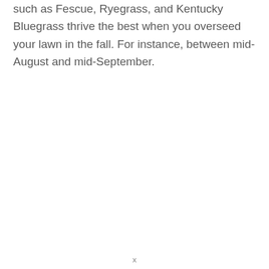such as Fescue, Ryegrass, and Kentucky Bluegrass thrive the best when you overseed your lawn in the fall. For instance, between mid-August and mid-September.
x